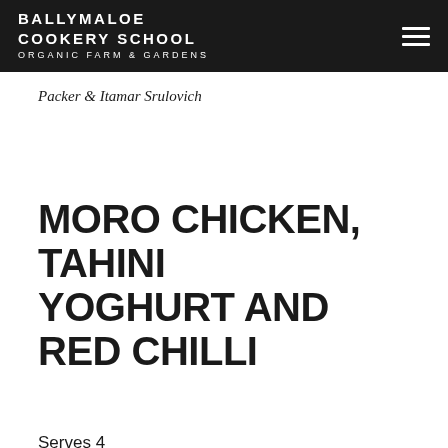BALLYMALOE COOKERY SCHOOL ORGANIC FARM & GARDENS
Packer & Itamar Srulovich
MORO CHICKEN, TAHINI YOGHURT AND RED CHILLI
Serves 4